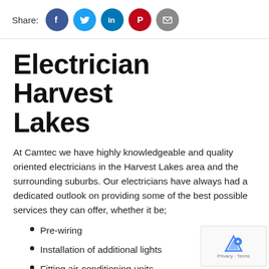Share: [Facebook] [Twitter] [LinkedIn] [Pinterest] [Email]
Electrician Harvest Lakes
At Camtec we have highly knowledgeable and quality oriented electricians in the Harvest Lakes area and the surrounding suburbs. Our electricians have always had a dedicated outlook on providing some of the best possible services they can offer, whether it be;
Pre-wiring
Installation of additional lights
Fitting air-conditioning units